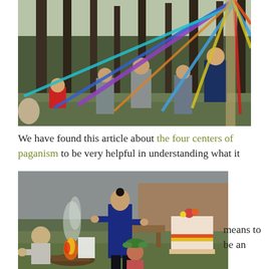[Figure (photo): People in a forest doing a maypole-like ribbon dance with colorful ribbons (purple, blue, yellow, red, cyan) wrapped around a central pole. Some participants wear casual clothing, visible among tall trees with sparse undergrowth.]
We have found this article about the four centers of paganism to be very helpful in understanding what it means to be an
[Figure (photo): Outdoor pagan ritual scene: a man in a dark blue tunic stands near a fire, another person bends down tending the fire with logs, a child wearing a leafy crown stands nearby, and a decorated table with flowers is visible in the background.]